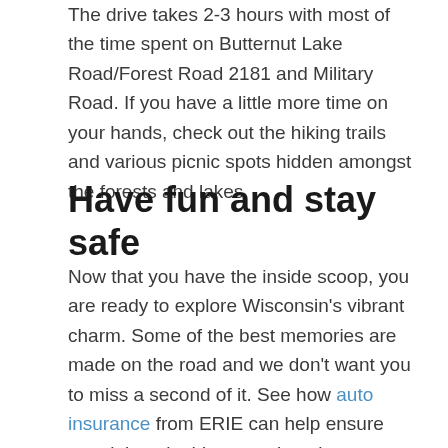The drive takes 2-3 hours with most of the time spent on Butternut Lake Road/Forest Road 2181 and Military Road. If you have a little more time on your hands, check out the hiking trails and various picnic spots hidden amongst the forests and lakes.
Have fun and stay safe
Now that you have the inside scoop, you are ready to explore Wisconsin's vibrant charm. Some of the best memories are made on the road and we don't want you to miss a second of it. See how auto insurance from ERIE can help ensure your leisurely drives continue by protecting you and your loved ones as you go the distance.